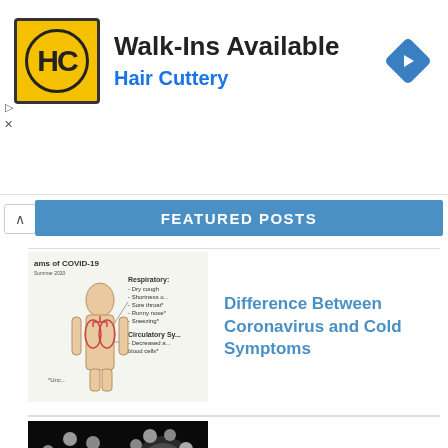[Figure (illustration): Hair Cuttery advertisement banner with yellow HC logo, Walk-Ins Available headline, and navigation arrow icon]
FEATURED POSTS
[Figure (illustration): COVID-19 symptoms anatomical diagram showing respiratory and circulatory symptoms]
Difference Between Coronavirus and Cold Symptoms
[Figure (photo): Black and white electron microscope image of coronavirus particles]
Difference Between Coronavirus and SARS
[Figure (illustration): Colorful illustration of two coronavirus particles with pink spike proteins on dark background]
Difference Between Coronavirus and Influenza